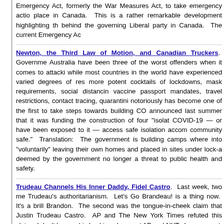Emergency Act, formerly the War Measures Act, to take emergency action place in Canada. This is a rather remarkable development highlighting the behind the governing Liberal party in Canada. The current Emergency Ac
Newton, the Third Law of Motion, and Canadian Truckers. Government Australia have been three of the worst offenders when it comes to attacki while most countries in the world have experienced varied degrees of res more potent cocktails of lockdowns, mask requirements, social distancing vaccine passport mandates, travel restrictions, contact tracing, quarantini notoriously has become one of the first to take steps towards building CO announced last summer that it was funding the construction of four "isolat COVID-19 — or have been exposed to it — access safe isolation accomp community safe." Translation: The government is building camps where into "voluntarily" leaving their own homes and placed in sites under lock-a deemed by the government no longer a threat to public health and safety.
Trudeau Channels His Inner Daddy, Fidel Castro. Last week, two mer Trudeau's authoritarianism. Let's Go Brandeau! is a thing now. It's a brill Brandon. The second was the tongue-in-cheek claim that Justin Trudeau Castro. AP and The New York Times refuted this claim. I don't know whi checking clowns at AP and NYT. In any event, on Monday, Trudeau chan emergency powers. He's shutting down protests that don't align with his
Canada and the tyranny of emergencies. Monday [2/14/2022], Prime M of emergency" against his own citizens in what has become the latest fas demand obedience to the state. [...] Such a declaration sets a dangerous Canadian version of the U.S.'s Bill of Rights, can now be sidestepped at any historical proposition more dangerous than a powerful apparatchik re necessity?
Canadian State Media Declare Freedom is Racist. The Canadian Broa